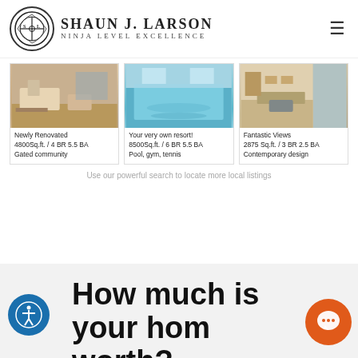[Figure (logo): Shaun J. Larson Ninja Level Excellence logo with circular emblem]
[Figure (photo): Three real estate listing cards: 1) Newly Renovated living room interior, 2) Pool resort-style area, 3) Contemporary kitchen with fantastic views]
Newly Renovated
4800Sq.ft. / 4 BR 5.5 BA
Gated community
Your very own resort!
8500Sq.ft. / 6 BR 5.5 BA
Pool, gym, tennis
Fantastic Views
2875 Sq.ft. / 3 BR 2.5 BA
Contemporary design
Use our powerful search to locate more local listings
How much is your home worth?